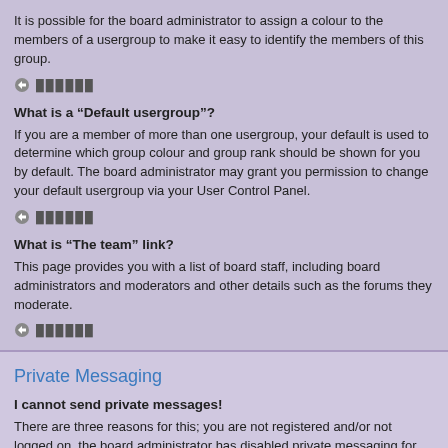It is possible for the board administrator to assign a colour to the members of a usergroup to make it easy to identify the members of this group.
▲ ▬▬▬▬▬▬
What is a “Default usergroup”?
If you are a member of more than one usergroup, your default is used to determine which group colour and group rank should be shown for you by default. The board administrator may grant you permission to change your default usergroup via your User Control Panel.
▲ ▬▬▬▬▬▬
What is “The team” link?
This page provides you with a list of board staff, including board administrators and moderators and other details such as the forums they moderate.
▲ ▬▬▬▬▬▬
Private Messaging
I cannot send private messages!
There are three reasons for this; you are not registered and/or not logged on, the board administrator has disabled private messaging for the entire board, or the board administrator has prevented you from sending messages. Contact a board administrator for more information.